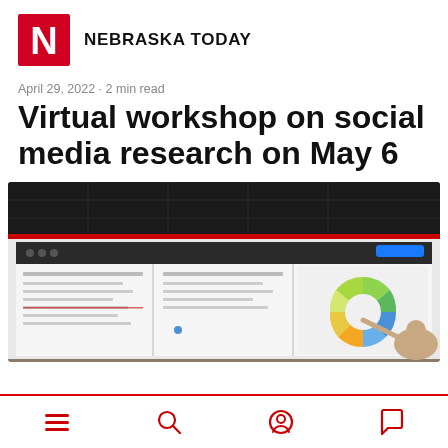NEBRASKA TODAY
April 29, 2022 · 2 min read
Virtual workshop on social media research on May 6
[Figure (photo): A person pointing at a large display screen showing a dashboard with charts and analytics, including a colorful donut/pie chart on the right side, in what appears to be a conference or presentation room.]
Navigation icons: menu, search, account, comment